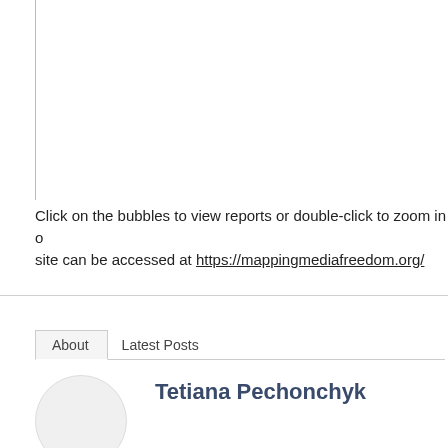[Figure (other): White box area with left border line — partial view of a map or chart above]
Click on the bubbles to view reports or double-click to zoom in on the site can be accessed at https://mappingmediafreedom.org/
About   Latest Posts
Tetiana Pechonchyk
[Figure (photo): Circular author avatar placeholder (light gray circle)]